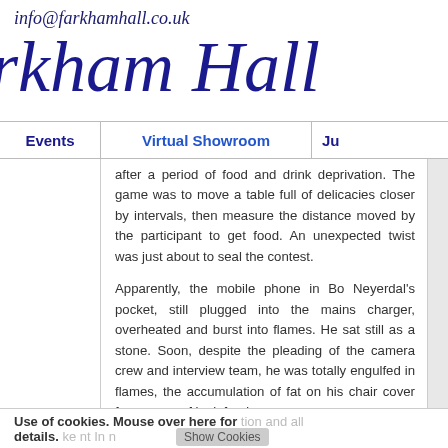info@farkhamhall.co.uk
rkham Hall
Events | Virtual Showroom | Ju
after a period of food and drink deprivation. The game was to move a table full of delicacies closer by intervals, then measure the distance moved by the participant to get food. An unexpected twist was just about to seal the contest.
Apparently, the mobile phone in Bo Neyerdal's pocket, still plugged into the mains charger, overheated and burst into flames. He sat still as a stone. Soon, despite the pleading of the camera crew and interview team, he was totally engulfed in flames, the accumulation of fat on his chair cover from years of junk food
Use of cookies. Mouse over here for details.